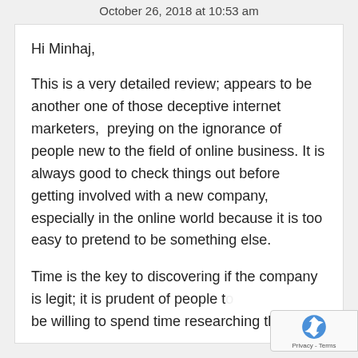October 26, 2018 at 10:53 am
Hi Minhaj,
This is a very detailed review; appears to be another one of those deceptive internet marketers,  preying on the ignorance of people new to the field of online business. It is always good to check things out before getting involved with a new company, especially in the online world because it is too easy to pretend to be something else.
Time is the key to discovering if the company is legit; it is prudent of people to be willing to spend time researching the